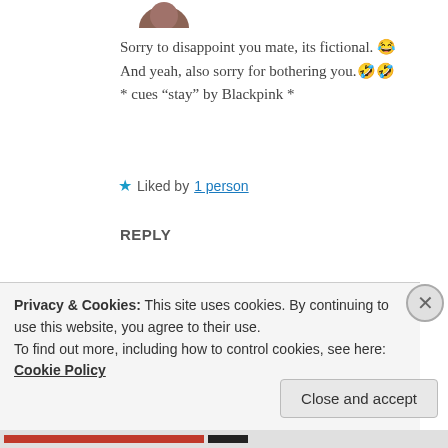[Figure (photo): Partial avatar photo at top, cropped circle showing top of user profile image]
Sorry to disappoint you mate, its fictional. 😂 And yeah, also sorry for bothering you. 🤣🤣 * cues “stay” by Blackpink *
★ Liked by 1 person
REPLY
[Figure (photo): Profile avatar circle showing a white flower held in hand with green background, user named SID]
SID
17 May 2019 at 10:13 am
Privacy & Cookies: This site uses cookies. By continuing to use this website, you agree to their use.
To find out more, including how to control cookies, see here: Cookie Policy
Close and accept